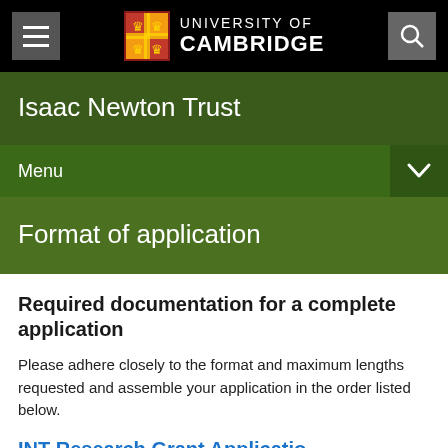UNIVERSITY OF CAMBRIDGE
Isaac Newton Trust
Menu
Format of application
Required documentation for a complete application
Please adhere closely to the format and maximum lengths requested and assemble your application in the order listed below.
INT Research Grant Applicatio…